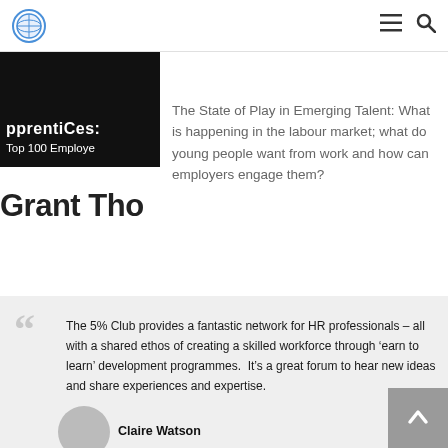[Figure (photo): Partially cropped dark image with white text reading 'pprentice... Top 100 Employe...' - apprenticeship top employers badge]
The State of Play in Emerging Talent: What is happening in the labour market; what do young people want from work and how can employers engage them?
[Figure (logo): Partially visible 'Grant Tho...' logo text in bold black]
The 5% Club provides a fantastic network for HR professionals – all with a shared ethos of creating a skilled workforce through ‘earn to learn’ development programmes.  It’s a great forum to hear new ideas and share experiences and expertise.
Claire Watson